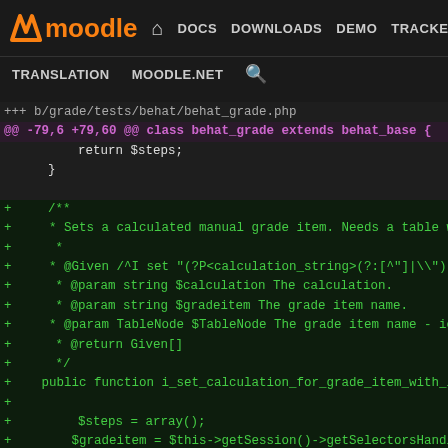moodle — DOCS DOWNLOADS DEMO TRACKER DEV — TRANSLATION MOODLE.NET
[Figure (screenshot): Moodle developer site navigation bar with logo and menu items: DOCS, DOWNLOADS, DEMO, TRACKER, DEV (active/highlighted in blue), TRANSLATION, MOODLE.NET, and search icon]
+++ b/grade/tests/behat/behat_grade.php
@@ -79,6 +79,60 @@ class behat_grade extends behat_base {
        return $steps;
    }

+    /**
+     * Sets a calculated manual grade item. Needs a table w
+     *
+     * @Given /^I set "(?P<calculation_string>(?:[^"]|\\")*/
+     * @param string $calculation The calculation.
+     * @param string $gradeitem The grade item name.
+     * @param TableNode $TableNode The grade item name - ic
+     * @return Given[]
+     */
+    public function i_set_calculation_for_grade_item_with_i
+
+        $steps = array();
+        $gradeitem = $this->getSession()->getSelectorsHandl
+
+        if ($this->running_javascript()) {
+            $xpath = "//tr[contains(.,$gradeitem)]//*[conta
+            if ($this->getSession()->getPage()->findAll('xp
+                $steps[] = new Given('I click on "' . $this
+            }
+        }
+